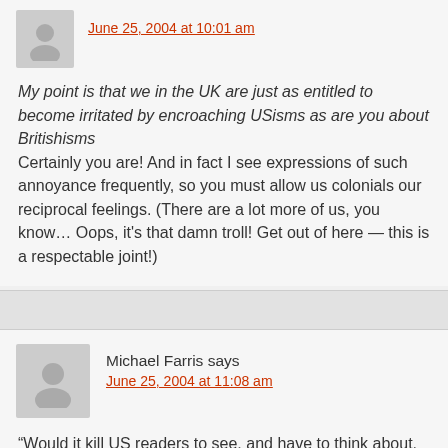June 25, 2004 at 10:01 am
My point is that we in the UK are just as entitled to become irritated by encroaching USisms as are you about Britishisms
Certainly you are! And in fact I see expressions of such annoyance frequently, so you must allow us colonials our reciprocal feelings. (There are a lot more of us, you know… Oops, it's that damn troll! Get out of here — this is a respectable joint!)
Michael Farris says
June 25, 2004 at 11:08 am
“Would it kill US readers to see, and have to think about, a different dialect of English?”
Yes it would.